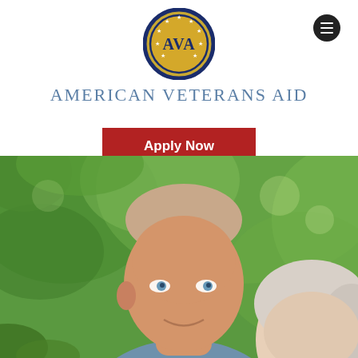[Figure (logo): AVA circular logo with gold background, navy blue border and stars, text AVA in center]
AMERICAN VETERANS AID
Apply Now
[Figure (photo): Elderly couple outdoors, man with short gray hair and blue eyes smiling, woman with white hair leaning on his shoulder, green foliage background]